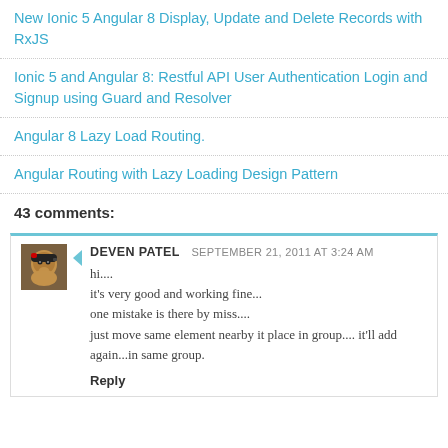New Ionic 5 Angular 8 Display, Update and Delete Records with RxJS
Ionic 5 and Angular 8: Restful API User Authentication Login and Signup using Guard and Resolver
Angular 8 Lazy Load Routing.
Angular Routing with Lazy Loading Design Pattern
43 comments:
DEVEN PATEL  SEPTEMBER 21, 2011 AT 3:24 AM
hi....
it's very good and working fine...
one mistake is there by miss....
just move same element nearby it place in group.... it'll add again...in same group.
Reply